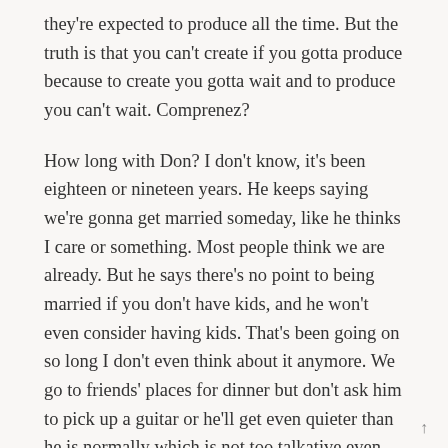they're expected to produce all the time. But the truth is that you can't create if you gotta produce because to create you gotta wait and to produce you can't wait. Comprenez?
How long with Don? I don't know, it's been eighteen or nineteen years. He keeps saying we're gonna get married someday, like he thinks I care or something. Most people think we are already. But he says there's no point to being married if you don't have kids, and he won't even consider having kids. That's been going on so long I don't even think about it anymore. We go to friends' places for dinner but don't ask him to pick up a guitar or he'll get even quieter than he is normally which is not too talkative even for an American. I don't know what he's really interested in and I'm not interested in what he's interested in anyway. But maybe that's why we get along.